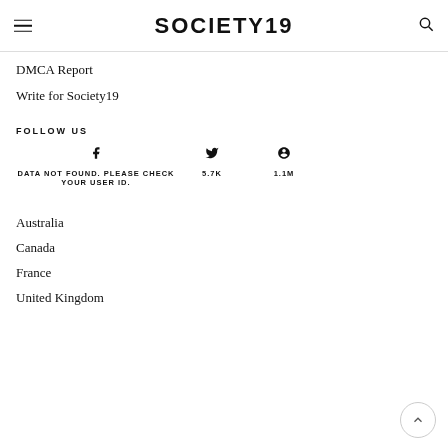SOCIETY19
DMCA Report
Write for Society19
FOLLOW US
DATA NOT FOUND. PLEASE CHECK YOUR USER ID.  5.7K  1.1M
Australia
Canada
France
United Kingdom